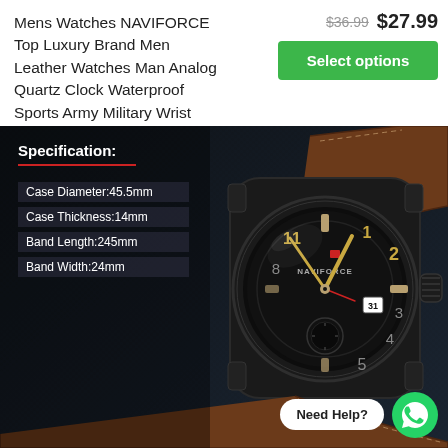Mens Watches NAVIFORCE Top Luxury Brand Men Leather Watches Man Analog Quartz Clock Waterproof Sports Army Military Wrist Watch
$36.99  $27.99
Select options
[Figure (photo): NAVIFORCE men's military sports watch with black case, dark dial showing Arabic numerals, and brown leather strap. Overlay text shows Specification: with a red underline, and specs: Case Diameter:45.5mm, Case Thickness:14mm, Band Length:245mm, Band Width:24mm. Bottom right shows 'Need Help?' button and WhatsApp icon.]